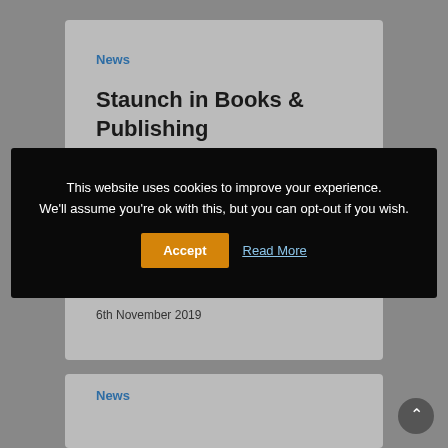News
Staunch in Books & Publishing
6th November 2019
News
This website uses cookies to improve your experience. We'll assume you're ok with this, but you can opt-out if you wish.
Accept
Read More